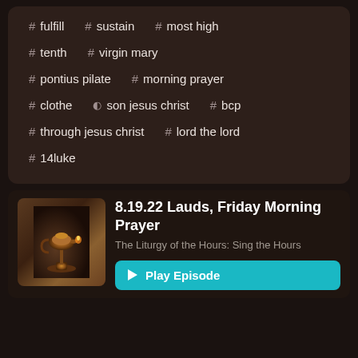# fulfill
# sustain
# most high
# tenth
# virgin mary
# pontius pilate
# morning prayer
# clothe
person son jesus christ
# bcp
# through jesus christ
# lord the lord
# 14luke
[Figure (photo): Thumbnail image of an antique oil lamp or censer, bronze/brass colored, on a dark background]
8.19.22 Lauds, Friday Morning Prayer
The Liturgy of the Hours: Sing the Hours
▶ Play Episode